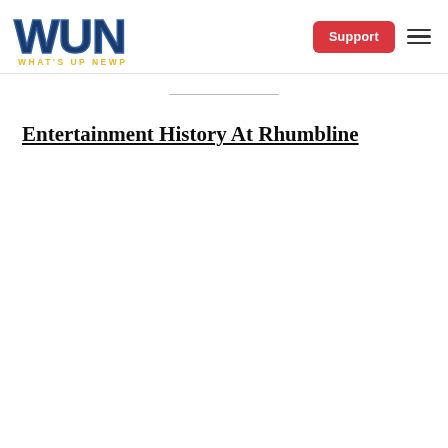[Figure (logo): WUN - What's Up Newp logo with bold blue block letters WUN and yellow text 'WHAT'S UP NEWP' below]
Entertainment History At Rhumbline